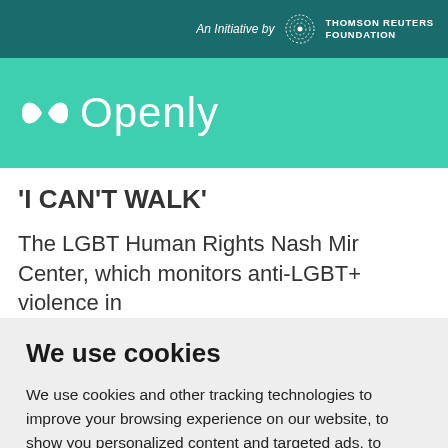An Initiative by THOMSON REUTERS FOUNDATION
[Figure (logo): Openly logo with teal bowtie icon and white wordmark 'Openly' on teal background]
'I CAN'T WALK'
The LGBT Human Rights Nash Mir Center, which monitors anti-LGBT+ violence in
We use cookies
We use cookies and other tracking technologies to improve your browsing experience on our website, to show you personalized content and targeted ads, to analyze our website traffic, and